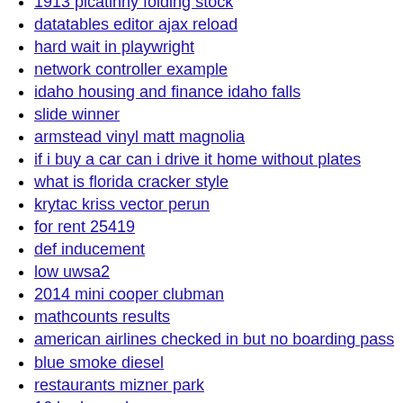1913 picatinny folding stock
datatables editor ajax reload
hard wait in playwright
network controller example
idaho housing and finance idaho falls
slide winner
armstead vinyl matt magnolia
if i buy a car can i drive it home without plates
what is florida cracker style
krytac kriss vector perun
for rent 25419
def inducement
low uwsa2
2014 mini cooper clubman
mathcounts results
american airlines checked in but no boarding pass
blue smoke diesel
restaurants mizner park
16 bedroom house
blue ridge builders
mexico libertad 2021
changeling where to watch
solidity smart contract developer salary
baby tears sims 4
ohio surplus auction